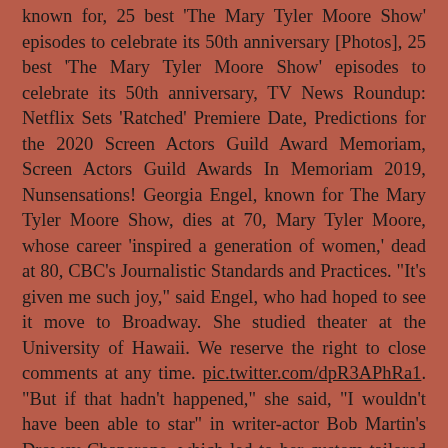known for, 25 best 'The Mary Tyler Moore Show' episodes to celebrate its 50th anniversary [Photos], 25 best 'The Mary Tyler Moore Show' episodes to celebrate its 50th anniversary, TV News Roundup: Netflix Sets 'Ratched' Premiere Date, Predictions for the 2020 Screen Actors Guild Award Memoriam, Screen Actors Guild Awards In Memoriam 2019, Nunsensations! Georgia Engel, known for The Mary Tyler Moore Show, dies at 70, Mary Tyler Moore, whose career 'inspired a generation of women,' dead at 80, CBC's Journalistic Standards and Practices. "It's given me such joy," said Engel, who had hoped to see it move to Broadway. She studied theater at the University of Hawaii. We reserve the right to close comments at any time. pic.twitter.com/dpR3APhRa1. "But if that hadn't happened," she said, "I wouldn't have been able to star" in writer-actor Bob Martin's Drowsy Chaperone, which led to her custom-tailored role in Martin's Half Time. She died on April 12, 2019 in Princeton, New Jersey, USA. Engel appeared on Broadway in plays and musicals including Hello, Dolly!, The Boys from Syracuse and, most recently, The Drowsy Chaperone in 2006-07. She also received three Emmy nominations for her guest role as Pat McDougall, Robert Barone's mother-in-law, on "Everybody Love Raymond"